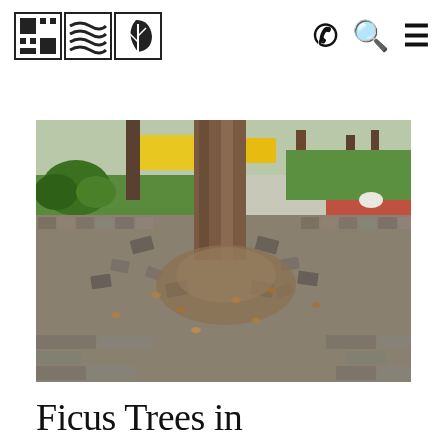[Logo icons: grid/layers/leaf] [Phone icon] [Search icon] [Menu icon]
[Figure (photo): A cobblestone pavement in a park heavily disrupted by tree roots growing beneath the surface, pushing up and displacing the stone pavers around the base of a large Ficus tree trunk. Green lawn and other trees visible in the background, along with yellow vehicles and a red pathway.]
Ficus Trees in